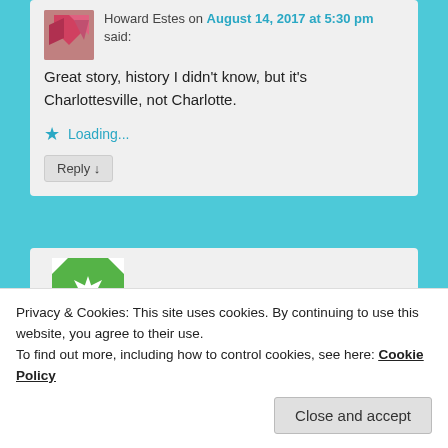Howard Estes on August 14, 2017 at 5:30 pm said:
Great story, history I didn't know, but it's Charlottesville, not Charlotte.
Loading...
Reply ↓
[Figure (illustration): Green geometric avatar with kaleidoscope/snowflake pattern]
Privacy & Cookies: This site uses cookies. By continuing to use this website, you agree to their use.
To find out more, including how to control cookies, see here: Cookie Policy
Close and accept